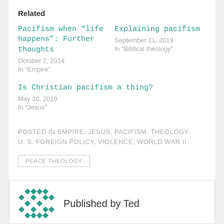Related
Pacifism when “life happens”: Further thoughts
October 2, 2014
In "Empire"
Explaining pacifism
September 11, 2019
In "Biblical theology"
Is Christian pacifism a thing?
May 20, 2019
In "Jesus"
POSTED IN EMPIRE, JESUS, PACIFISM, THEOLOGY, U. S. FOREIGN POLICY, VIOLENCE, WORLD WAR II
PEACE THEOLOGY
Published by Ted